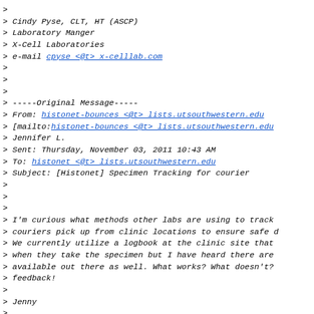> 
> Cindy Pyse, CLT, HT (ASCP)
> Laboratory Manger
> X-Cell Laboratories
> e-mail cpyse <@t> x-celllab.com
>
>
>
> -----Original Message-----
> From: histonet-bounces <@t> lists.utsouthwestern.edu
> [mailto:histonet-bounces <@t> lists.utsouthwestern.edu
> Jennifer L.
> Sent: Thursday, November 03, 2011 10:43 AM
> To: histonet <@t> lists.utsouthwestern.edu
> Subject: [Histonet] Specimen Tracking for courier
>
>
>
> I'm curious what methods other labs are using to track
> couriers pick up from clinic locations to ensure safe d
> We currently utilize a logbook at the clinic site that
> when they take the specimen but I have heard there are
> available out there as well. What works? What doesn't?
> feedback!
>
> Jenny
>
>
> mailgate.hinet.org made the following annotations
> -----------------------------------------------